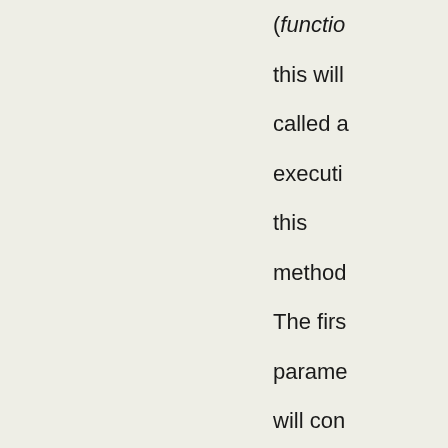(function) this will be called after execution this method. The first parameter will contain the Error object if an error occured, null otherwise. While the second parameter will contain the result from the